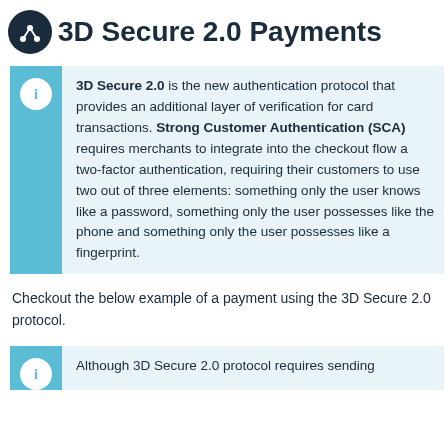3D Secure 2.0 Payments
3D Secure 2.0 is the new authentication protocol that provides an additional layer of verification for card transactions. Strong Customer Authentication (SCA) requires merchants to integrate into the checkout flow a two-factor authentication, requiring their customers to use two out of three elements: something only the user knows like a password, something only the user possesses like the phone and something only the user possesses like a fingerprint.
Checkout the below example of a payment using the 3D Secure 2.0 protocol.
Although 3D Secure 2.0 protocol requires sending